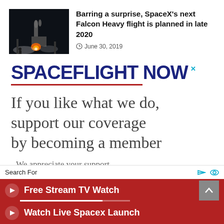[Figure (photo): Rocket launch photo, dark background with orange glow]
Barring a surprise, SpaceX's next Falcon Heavy flight is planned in late 2020
June 30, 2019
[Figure (logo): Spaceflight Now logo in dark blue bold text with red underline and close X button]
If you like what we do, support our coverage by becoming a member
We appreciate your support
Search For
Free Stream TV Watch
Watch Live Spacex Launch